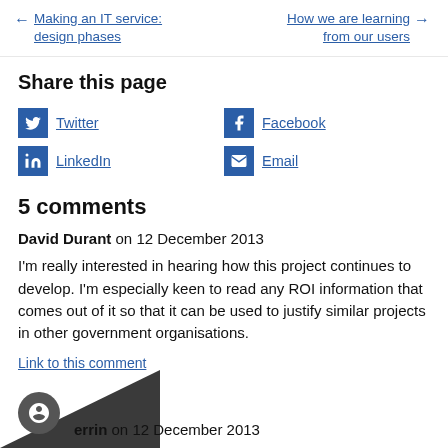← Making an IT service: design phases    How we are learning from our users →
Share this page
Twitter
Facebook
LinkedIn
Email
5 comments
David Durant on 12 December 2013
I'm really interested in hearing how this project continues to develop. I'm especially keen to read any ROI information that comes out of it so that it can be used to justify similar projects in other government organisations.
Link to this comment
errin on 12 December 2013